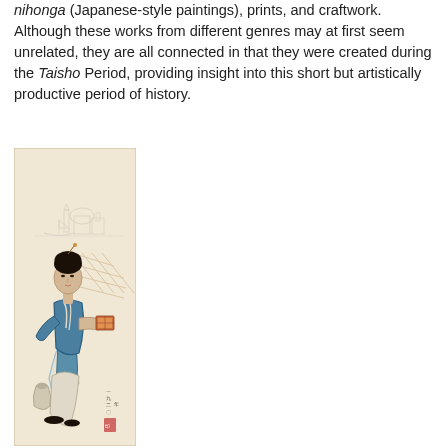nihonga (Japanese-style paintings), prints, and craftwork. Although these works from different genres may at first seem unrelated, they are all connected in that they were created during the Taisho Period, providing insight into this short but artistically productive period of history.
[Figure (illustration): A Japanese-style painting (nihonga) depicting a woman in a blue kimono sitting, with black hair pinned up, holding a decorative object. In the background are faint outlines of boats and buildings near water. The painting is on a scroll-like cream/beige background with Japanese text/seal marks at the bottom right.]